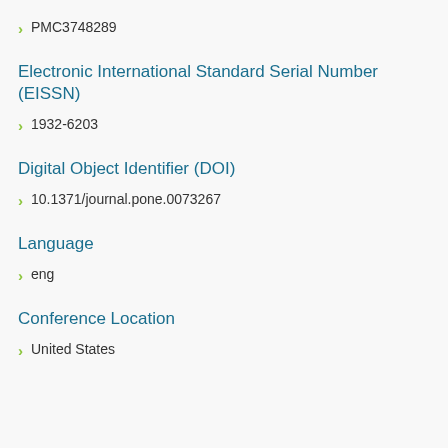PMC3748289
Electronic International Standard Serial Number (EISSN)
1932-6203
Digital Object Identifier (DOI)
10.1371/journal.pone.0073267
Language
eng
Conference Location
United States